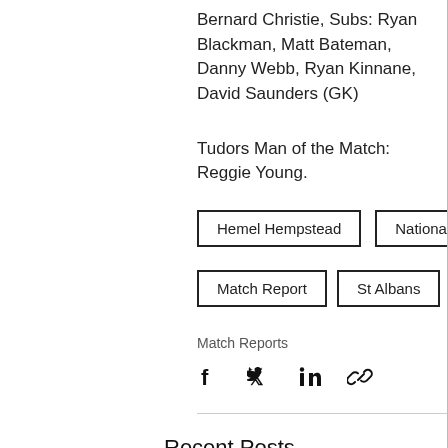Bernard Christie, Subs: Ryan Blackman, Matt Bateman, Danny Webb, Ryan Kinnane, David Saunders (GK)
Tudors Man of the Match: Reggie Young.
Hemel Hempstead
National League
Match Report
St Albans
Match Reports
[Figure (other): Social share icons: Facebook, Twitter, LinkedIn, Copy link]
Recent Posts
See All
[Figure (photo): Partial photo thumbnails showing recent posts images]